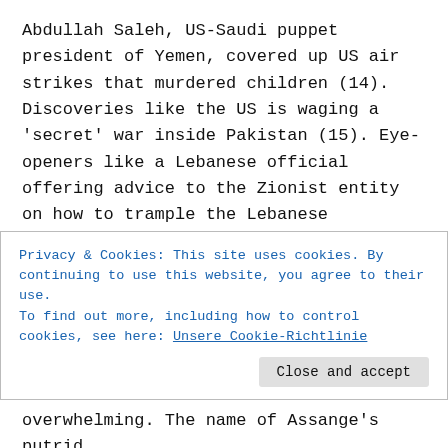Abdullah Saleh, US-Saudi puppet president of Yemen, covered up US air strikes that murdered children (14). Discoveries like the US is waging a 'secret' war inside Pakistan (15). Eye-openers like a Lebanese official offering advice to the Zionist entity on how to trample the Lebanese Resistance movement, Hezbollah (16), or the US flying spy missions over Lebanon from its Diego Garcia base (17). Or quite possibly the largest and most apocalyptic
Privacy & Cookies: This site uses cookies. By continuing to use this website, you agree to their use.
To find out more, including how to control cookies, see here: Unsere Cookie-Richtlinie
overwhelming. The name of Assange's putrid